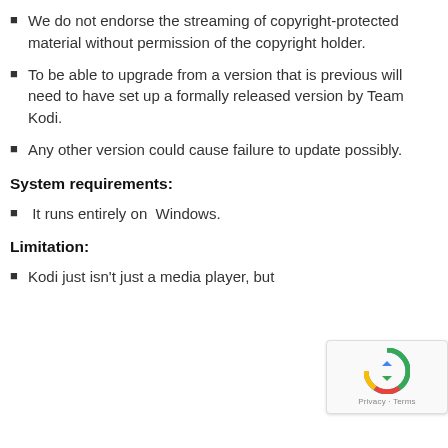We do not endorse the streaming of copyright-protected material without permission of the copyright holder.
To be able to upgrade from a version that is previous will need to have set up a formally released version by Team Kodi.
Any other version could cause failure to update possibly.
System requirements:
It runs entirely on  Windows.
Limitation:
Kodi just isn't just a media player, but